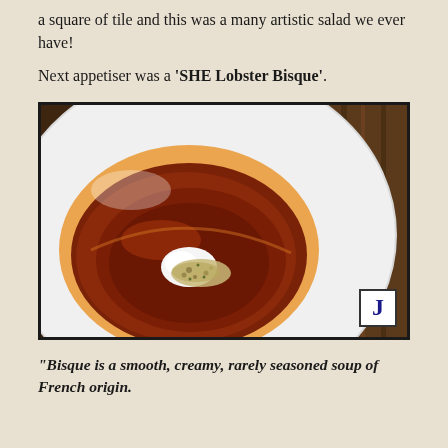a square of tile and this was a many artistic salad we ever have!
Next appetiser was a ‘SHE Lobster Bisque’.
[Figure (photo): A close-up photo of a white bowl containing a deep reddish-brown lobster bisque soup with a white cream garnish and crab/herb topping in the center, on a wooden table. A watermark 'J' logo is in the bottom right corner.]
“Bisque is a smooth, creamy, rarely seasoned soup of French origin.